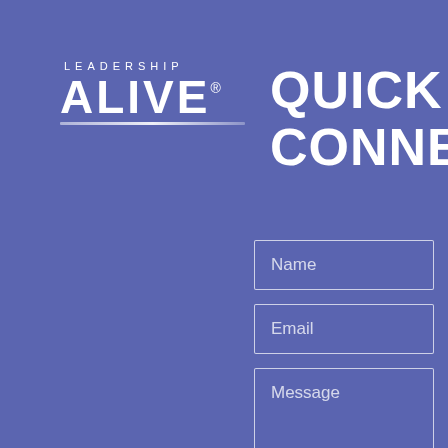[Figure (logo): Leadership Alive logo with 'LEADERSHIP' in small caps above 'ALIVE®' in large bold letters, with a decorative underline]
QUICK CONNECT
Name
Email
Message